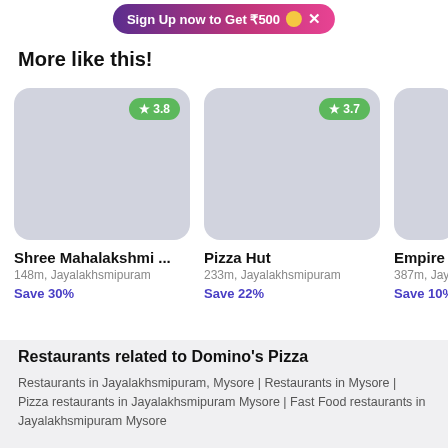[Figure (screenshot): Promotional banner: Sign Up now to Get ₹500 with coin icon and X close button]
More like this!
[Figure (infographic): Restaurant card: Shree Mahalakshmi ... with rating badge 3.8, location 148m, Jayalakhsmipuram, Save 30%]
[Figure (infographic): Restaurant card: Pizza Hut with rating badge 3.7, location 233m, Jayalakhsmipuram, Save 22%]
[Figure (infographic): Restaurant card partial: Empire Resta... with location 387m, Jayalak..., Save 10%]
Restaurants related to Domino's Pizza
Restaurants in Jayalakhsmipuram, Mysore | Restaurants in Mysore | Pizza restaurants in Jayalakhsmipuram Mysore | Fast Food restaurants in Jayalakhsmipuram Mysore